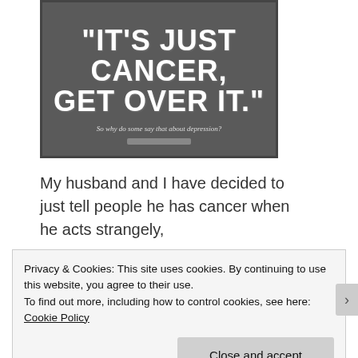[Figure (photo): Chalkboard image with large white chalk text reading 'It's just cancer, get over it.' and below in smaller text 'So why do some say that about depression?' An eraser sits at the bottom of the chalkboard.]
My husband and I have decided to just tell people he has cancer when he acts strangely,
Privacy & Cookies: This site uses cookies. By continuing to use this website, you agree to their use.
To find out more, including how to control cookies, see here: Cookie Policy
Close and accept